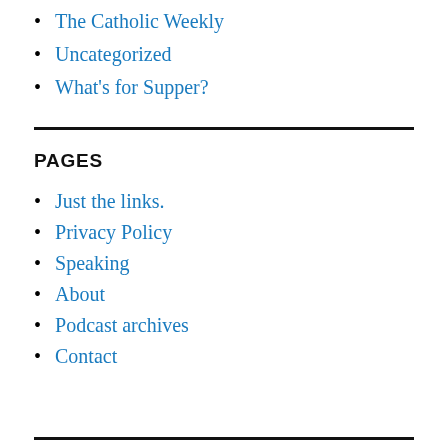The Catholic Weekly
Uncategorized
What's for Supper?
PAGES
Just the links.
Privacy Policy
Speaking
About
Podcast archives
Contact